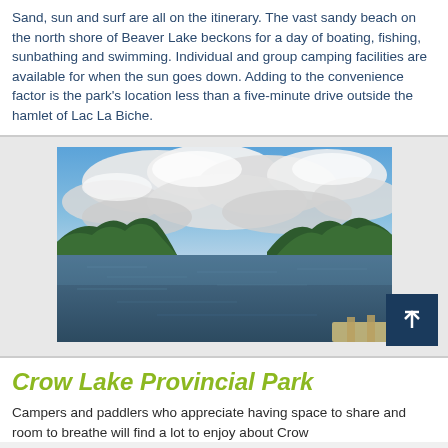Sand, sun and surf are all on the itinerary. The vast sandy beach on the north shore of Beaver Lake beckons for a day of boating, fishing, sunbathing and swimming. Individual and group camping facilities are available for when the sun goes down. Adding to the convenience factor is the park's location less than a five-minute drive outside the hamlet of Lac La Biche.
[Figure (photo): Photograph of a calm lake with a cloudy blue sky, forested shoreline on both sides, and a wooden dock visible in the lower right corner.]
Crow Lake Provincial Park
Campers and paddlers who appreciate having space to share and room to breathe will find a lot to enjoy about Crow